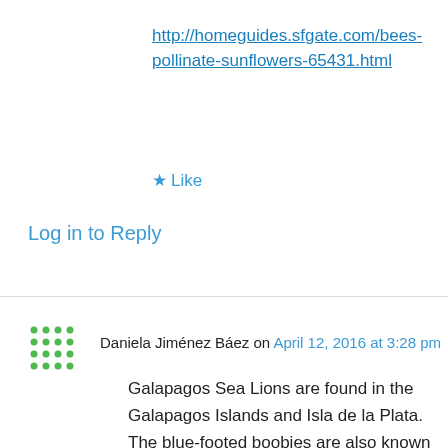http://homeguides.sfgate.com/bees-pollinate-sunflowers-65431.html
★ Like
Log in to Reply
Daniela Jiménez Báez on April 12, 2016 at 3:28 pm
Galapagos Sea Lions are found in the Galapagos Islands and Isla de la Plata. The blue-footed boobies are also known to frequent
[Figure (screenshot): DuckDuckGo advertisement banner: orange background with text 'Search, browse, and email with more privacy. All in One Free App' and DuckDuckGo logo with phone mockup]